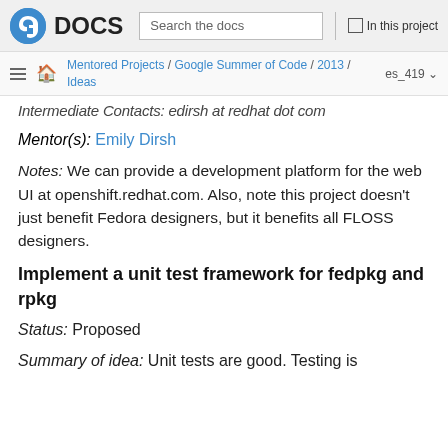Fedora DOCS — Search the docs — In this project
Mentored Projects / Google Summer of Code / 2013 / Ideas — es_419
Intermediate Contacts: edirsh at redhat dot com
Mentor(s): Emily Dirsh
Notes: We can provide a development platform for the web UI at openshift.redhat.com. Also, note this project doesn't just benefit Fedora designers, but it benefits all FLOSS designers.
Implement a unit test framework for fedpkg and rpkg
Status: Proposed
Summary of idea: Unit tests are good. Testing is